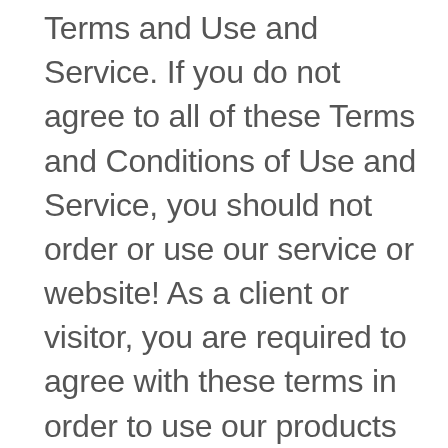consent to follow our Terms and Use and Service. If you do not agree to all of these Terms and Conditions of Use and Service, you should not order or use our service or website! As a client or visitor, you are required to agree with these terms in order to use our products and services. The Company; may change and update these Terms and Conditions at any time. Your continued usage of the The Company websites and other services – referred here to as Websites – will mean you accept those changes. Definition of Client: A client is any person or business entity that has placed an order for any of The